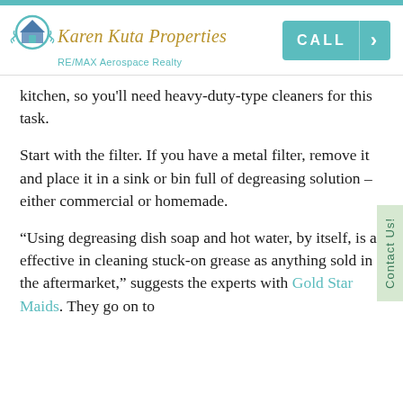[Figure (logo): Karen Kuta Properties RE/MAX Aerospace Realty logo with house icon and teal/gold colors]
kitchen, so you'll need heavy-duty-type cleaners for this task.
Start with the filter. If you have a metal filter, remove it and place it in a sink or bin full of degreasing solution – either commercial or homemade.
“Using degreasing dish soap and hot water, by itself, is as effective in cleaning stuck-on grease as anything sold in the aftermarket,” suggests the experts with Gold Star Maids. They go on to